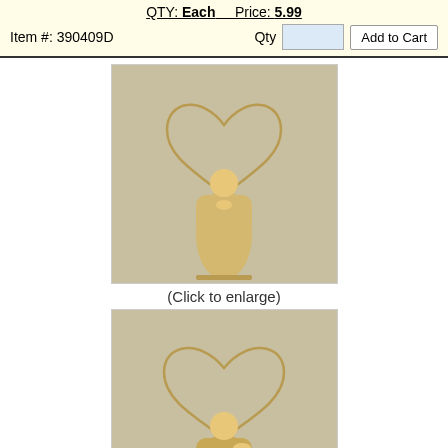QTY: Each   Price: 5.99
Item #: 390409D
Qty  [input]  Add to Cart
[Figure (photo): Angel decoration made of abaca/natural fiber, front view, praying pose with heart-shaped wire wings, on grey background]
(Click to enlarge)
[Figure (photo): Angel decoration made of abaca/natural fiber, alternate view showing back/side, with heart-shaped wire wings, on grey background]
Alternate Photo
(Click to enlarge)
Eco Friendly Christmas Angel Decoration - Abaca Angel
12" -  NATURAL - Each
Chat now  ×